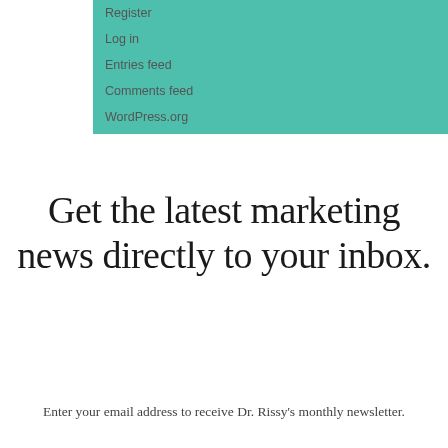Register
Log in
Entries feed
Comments feed
WordPress.org
Get the latest marketing news directly to your inbox.
Enter your email address to receive Dr. Rissy's monthly newsletter.